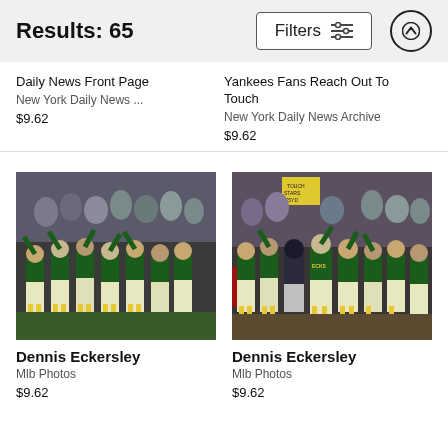Results: 65
Daily News Front Page
New York Daily News ...
$9.62
Yankees Fans Reach Out To Touch
New York Daily News Archive
$9.62
[Figure (photo): Baseball players celebrating on field, crowd in background, Oakland A's uniforms]
Dennis Eckersley
Mlb Photos
$9.62
[Figure (photo): Baseball players celebrating on field, crowd with signs in background, Oakland A's uniforms]
Dennis Eckersley
Mlb Photos
$9.62